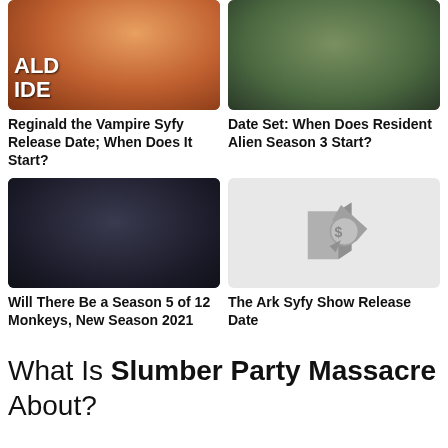[Figure (photo): Thumbnail of Reginald the Vampire with fangs visible, warm orange tones, text overlay 'ALD' and 'IDE']
Reginald the Vampire Syfy Release Date; When Does It Start?
[Figure (photo): Thumbnail of person in green jacket near red vehicle, muted tones]
Date Set: When Does Resident Alien Season 3 Start?
[Figure (photo): Thumbnail of two people in dark dramatic scene for 12 Monkeys]
Will There Be a Season 5 of 12 Monkeys, New Season 2021
[Figure (other): Grey placeholder with news/media logo icon]
The Ark Syfy Show Release Date
What Is Slumber Party Massacre About?